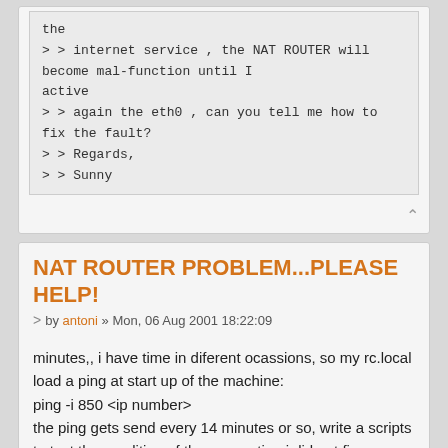> > internet service , the NAT ROUTER will become mal-function until I active
> > again the eth0 , can you tell me how to fix the fault?
> > Regards,
> > Sunny
NAT ROUTER PROBLEM...PLEASE HELP!
by antoni » Mon, 06 Aug 2001 18:22:09
minutes,, i have time in diferent ocassions, so my rc.local load a ping at start up of the machine:
ping -i 850 <ip number>
the ping gets send every 14 minutes or so, write a scripts to test the condition of the connection i did not fins reazon for it as i am sure the connection dies after that amount of time i just send a ping to my gateway, to keep the connection alive. Some friends that run winblows also have the same problem and they just leave they mail to check every 15 minutes.... script i really dont need it, but if you do let me know i will write you one.